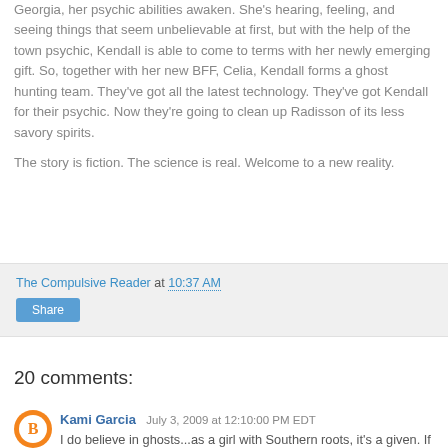Georgia, her psychic abilities awaken. She's hearing, feeling, and seeing things that seem unbelievable at first, but with the help of the town psychic, Kendall is able to come to terms with her newly emerging gift. So, together with her new BFF, Celia, Kendall forms a ghost hunting team. They've got all the latest technology. They've got Kendall for their psychic. Now they're going to clean up Radisson of its less savory spirits.
The story is fiction. The science is real. Welcome to a new reality.
The Compulsive Reader at 10:37 AM
Share
20 comments:
Kami Garcia July 3, 2009 at 12:10:00 PM EDT
I do believe in ghosts...as a girl with Southern roots, it's a given. If you love a good ghost story, you can also pick up